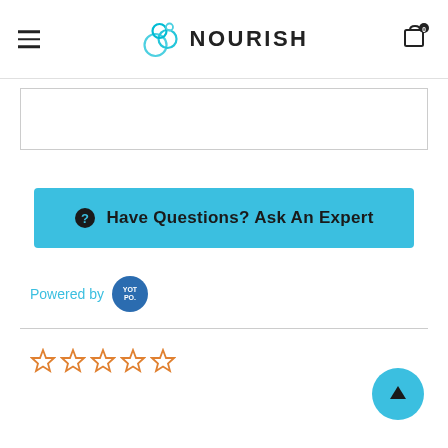NOURISH
[Figure (other): Empty bordered text input box]
[Figure (other): Blue button with question mark icon and text 'Have Questions? Ask An Expert']
Powered by YOT PO.
[Figure (other): Five empty orange star rating icons]